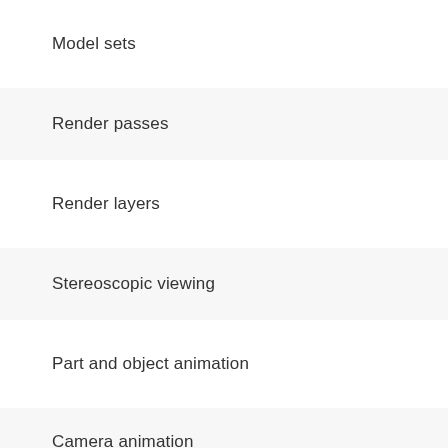Model sets
Render passes
Render layers
Stereoscopic viewing
Part and object animation
Camera animation